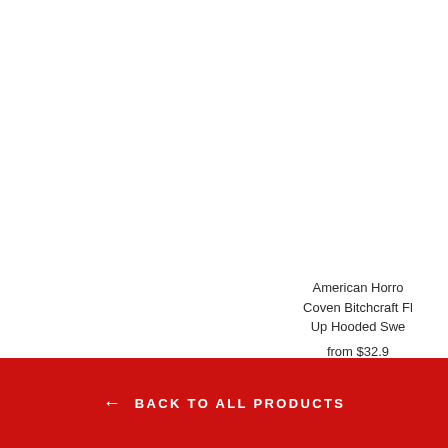American Horror Story Coven Bitchcraft Fleece Zip Up Hooded Sweatshirt
from $32.9
← BACK TO ALL PRODUCTS